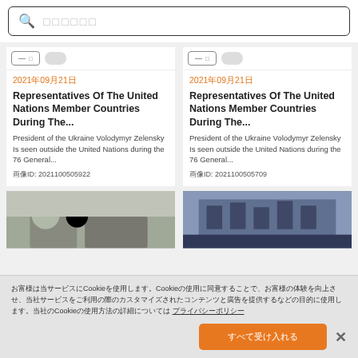[Figure (screenshot): Search bar with magnifying glass icon and placeholder text (Japanese characters)]
[Figure (screenshot): Two article card tops with button controls]
2021年09月21日
2021年09月21日
Representatives Of The United Nations Member Countries During The...
Representatives Of The United Nations Member Countries During The...
President of the Ukraine Volodymyr Zelensky Is seen outside the United Nations during the 76 General...
President of the Ukraine Volodymyr Zelensky Is seen outside the United Nations during the 76 General...
画像ID: 2021100505922
画像ID: 2021100505709
[Figure (photo): Photo of people in masks outside a building]
[Figure (photo): Photo of a building interior/exterior at night]
お客様は当サービスにCookieを使用します。Cookieの使用に同意することで、お客様の体験を向上させ、当社サービスをご利用の際のカスタマイズされたコンテンツと広告を提供するなどの目的に使用します。当社のCookieの使用方法の詳細については プライバシーポリシー